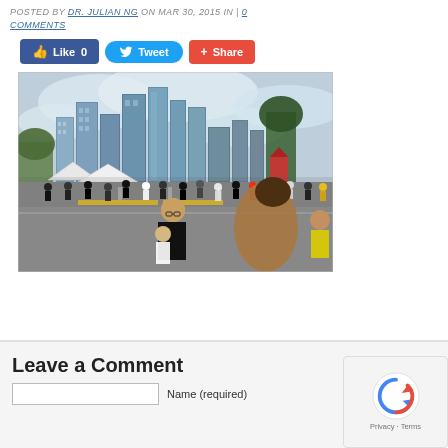POSTED BY DR. JULIAN NG ON MAR 30, 2015 IN | 0 COMMENTS
[Figure (other): Social sharing buttons: Like 0 (Facebook blue), Tweet (Twitter blue), Share (red/orange)]
[Figure (photo): Outdoor photo of a large public gathering/crowd on a wide road with Singapore CBD skyline (tall skyscrapers) in the background, overcast sky, people walking, yellow barriers, white tents visible]
Leave a Comment
Name (required)